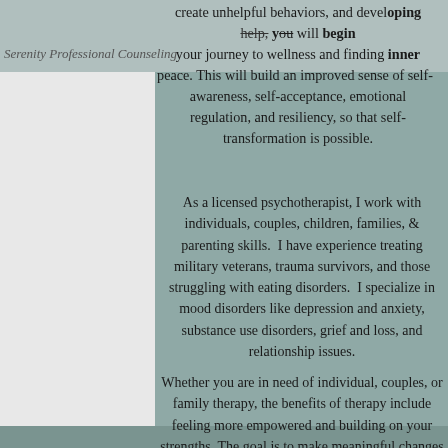Serenity Professional Counseling
create unhelpful behaviors, and developing ping help, you will begin your journey to wellness and finding inner peace. This will build an improved sense of self-awareness, self-acceptance, emotional regulation, and resiliency, so that self-transformation is possible.
As a licensed psychotherapist, I work with individuals, couples, children, families, & parenting skills.  I have experience treating military veterans, trauma survivors, and those struggling with eating disorders.  I specialize in mood disorders like depression and anxiety, substance use disorders, grief and loss, and relationship issues.
Whether you are in need of individual, couples, or family therapy, the benefits of therapy include feeling more empowered and building on your strengths. The goal is to make meaningful changes that will help you achieve a healthier sense of well-being, balance, and happiness in